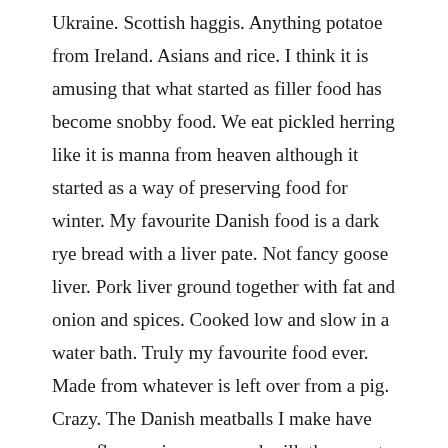Ukraine. Scottish haggis. Anything potatoe from Ireland. Asians and rice. I think it is amusing that what started as filler food has become snobby food. We eat pickled herring like it is manna from heaven although it started as a way of preserving food for winter. My favourite Danish food is a dark rye bread with a liver pate. Not fancy goose liver. Pork liver ground together with fat and onion and spices. Cooked low and slow in a water bath. Truly my favourite food ever. Made from whatever is left over from a pig. Crazy. The Danish meatballs I make have more flour, onion, eggs and milk than meat. Makes them go further but I couldn't imagine them any other way. What makes these foods special is the passing down through the generations. Learning from Mom or Grandma.